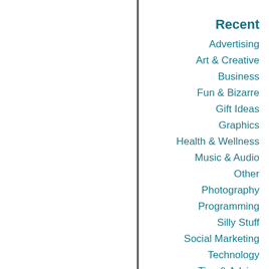Recent
Advertising
Art & Creative
Business
Fun & Bizarre
Gift Ideas
Graphics
Health & Wellness
Music & Audio
Other
Photography
Programming
Silly Stuff
Social Marketing
Technology
Tips & Advice